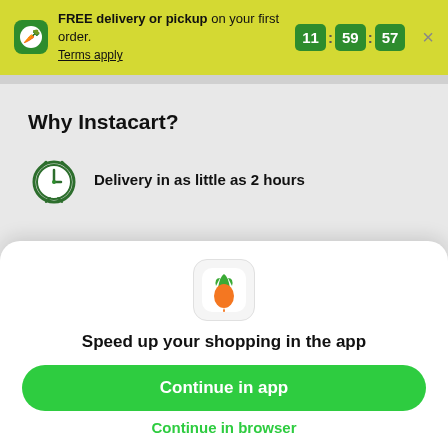FREE delivery or pickup on your first order. Terms apply
11 : 59 : 57
Why Instacart?
Delivery in as little as 2 hours
Shop local stores at great prices
[Figure (logo): Instacart carrot app icon]
Speed up your shopping in the app
Continue in app
Continue in browser